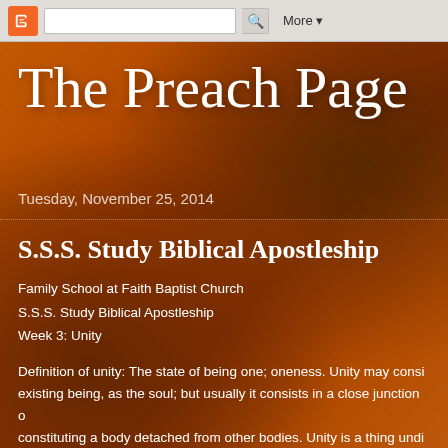Blogger navigation bar with logo, search box, and More dropdown
The Preach Page
Tuesday, November 25, 2014
S.S.S. Study Biblical Apostleship
Family School at Faith Baptist Church
S.S.S. Study Biblical Apostleship
Week 3: Unity
Definition of unity: The state of being one; oneness. Unity may consist of a single existing being, as the soul; but usually it consists in a close junction of constituting a body detached from other bodies. Unity is a thing undivided from every other thing.